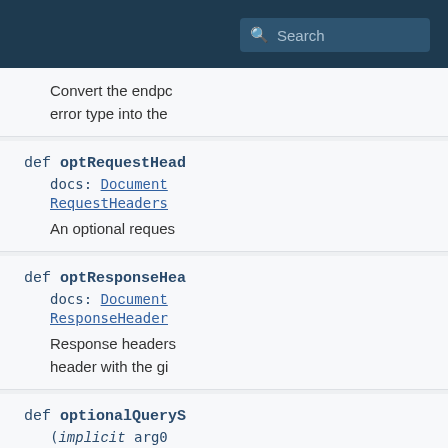Search
Convert the endpo error type into the
def optRequestHead
docs: Document
RequestHeaders
An optional reques
def optResponseHea
docs: Document
ResponseHeader
Response headers
header with the gi
def optionalQueryS
(implicit arg0
QueryStringPar
QueryStringPar
Make a query strin
optional:
def qs[A](name: St
docs: Document